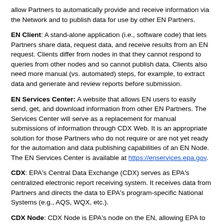allow Partners to automatically provide and receive information via the Network and to publish data for use by other EN Partners.
EN Client: A stand-alone application (i.e., software code) that lets Partners share data, request data, and receive results from an EN request. Clients differ from nodes in that they cannot respond to queries from other nodes and so cannot publish data. Clients also need more manual (vs. automated) steps, for example, to extract data and generate and review reports before submission.
EN Services Center: A website that allows EN users to easily send, get, and download information from other EN Partners. The Services Center will serve as a replacement for manual submissions of information through CDX Web. It is an appropriate solution for those Partners who do not require or are not yet ready for the automation and data publishing capabilities of an EN Node. The EN Services Center is available at https://enservices.epa.gov.
CDX: EPA's Central Data Exchange (CDX) serves as EPA's centralized electronic report receiving system. It receives data from Partners and directs the data to EPA's program-specific National Systems (e.g., AQS, WQX, etc.).
CDX Node: CDX Node is EPA's node on the EN, allowing EPA to receive, send, and provide information via the Network. CDX Node can also publish EPA data for use by other EN Partners.
CDX Web (or EN Application): A CDX application that...